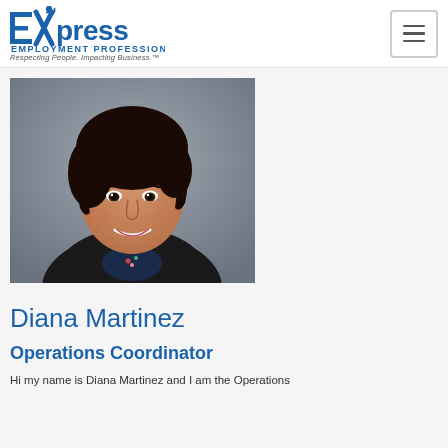Express Employment Professionals — Respecting People. Impacting Business.™
[Figure (photo): Professional headshot of Diana Martinez, a woman with dark hair wearing a black blazer and floral top, smiling, against a grey background]
Diana Martinez
Operations Coordinator
Hi my name is Diana Martinez and I am the Operations...